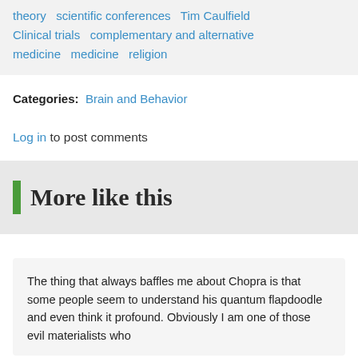theory   scientific conferences   Tim Caulfield   Clinical trials   complementary and alternative medicine   medicine   religion
Categories: Brain and Behavior
Log in to post comments
More like this
The thing that always baffles me about Chopra is that some people seem to understand his quantum flapdoodle and even think it profound. Obviously I am one of those evil materialists who